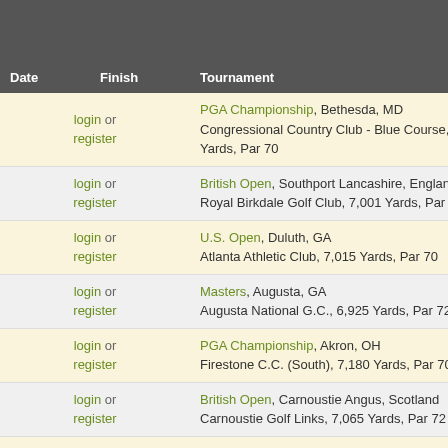| Date | Finish | Tournament |
| --- | --- | --- |
| login or register |  | PGA Championship, Bethesda, MD
Congressional Country Club - Blue Course, 7,054 Yards, Par 70 |
| login or register |  | British Open, Southport Lancashire, England
Royal Birkdale Golf Club, 7,001 Yards, Par 72 |
| login or register |  | U.S. Open, Duluth, GA
Atlanta Athletic Club, 7,015 Yards, Par 70 |
| login or register |  | Masters, Augusta, GA
Augusta National G.C., 6,925 Yards, Par 72 |
| login or register |  | PGA Championship, Akron, OH
Firestone C.C. (South), 7,180 Yards, Par 70 |
| login or register |  | British Open, Carnoustie Angus, Scotland
Carnoustie Golf Links, 7,065 Yards, Par 72 |
| login or register |  | U.S. Open, Medinah, IL
Medinah C.C. (No 3), 7,032 Yards, Par 71 |
| login or register |  | Masters, Augusta, GA
Augusta National G.C., 6,925 Yards, Par 72 |
| login or register |  | PGA Championship, Clemmons, NC
Tanglewood G.C., 7,050 Yards, Par 70 |